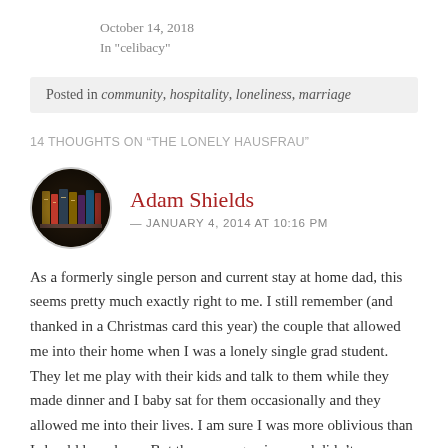October 14, 2018
In "celibacy"
Posted in community, hospitality, loneliness, marriage
14 THOUGHTS ON “THE LONELY HAUSFRAU”
Adam Shields
— JANUARY 4, 2014 AT 10:16 PM
As a formerly single person and current stay at home dad, this seems pretty much exactly right to me. I still remember (and thanked in a Christmas card this year) the couple that allowed me into their home when I was a lonely single grad student. They let me play with their kids and talk to them while they made dinner and I baby sat for them occasionally and they allowed me into their lives. I am sure I was more oblivious than I should have been. But they were gracious and didn’t worry about asking me to participate In family life, which is what I